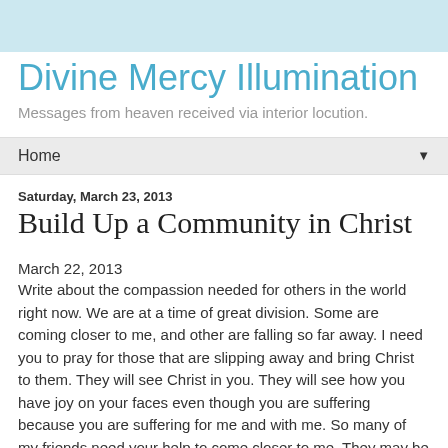Divine Mercy Illumination
Messages from heaven received via interior locution.
Home
Saturday, March 23, 2013
Build Up a Community in Christ
March 22, 2013
Write about the compassion needed for others in the world right now. We are at a time of great division. Some are coming closer to me, and other are falling so far away. I need you to pray for those that are slipping away and bring Christ to them. They will see Christ in you. They will see how you have joy on your faces even though you are suffering because you are suffering for me and with me. So many of my friends need your help to come closer to me. They may be suffering tremendously and just need